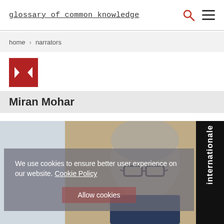glossary of common knowledge
home › narrators
[Figure (other): Red square navigation button with left and right arrow chevrons]
Miran Mohar
[Figure (photo): Photograph of Miran Mohar, a middle-aged man with grey hair and glasses, looking slightly downward. Background is beige/tan.]
We use cookies to ensure better user experience on our website. Cookie Policy
Allow cookies
internationale